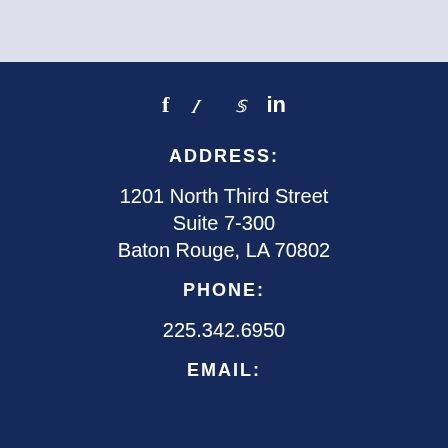[Figure (other): Social media icons: Facebook (f), Twitter (bird), LinkedIn (in)]
ADDRESS:
1201 North Third Street
Suite 7-300
Baton Rouge, LA 70802
PHONE:
225.342.6950
EMAIL: